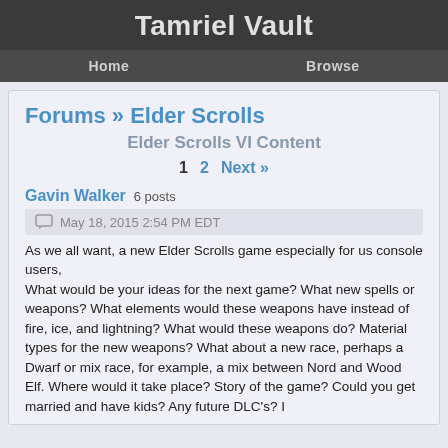Tamriel Vault
Home   Browse
Forums » Elder Scrolls
Elder Scrolls VI Content
1   2   Next »
Gavin Walker  6 posts
May 18, 2015 2:54 PM EDT
As we all want, a new Elder Scrolls game especially for us console users, What would be your ideas for the next game? What new spells or weapons? What elements would these weapons have instead of fire, ice, and lightning? What would these weapons do? Material types for the new weapons? What about a new race, perhaps a Dwarf or mix race, for example, a mix between Nord and Wood Elf. Where would it take place? Story of the game? Could you get married and have kids? Any future DLC's? I